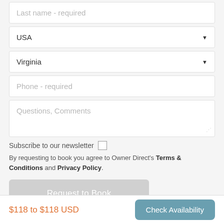Last name - required
USA
Virginia
Phone - required
Questions, Comments
Subscribe to our newsletter
By requesting to book you agree to Owner Direct's Terms & Conditions and Privacy Policy.
Request to Book
There is no charge to request a property.
There is no requirement to book.
$118 to $118 USD
Check Availability